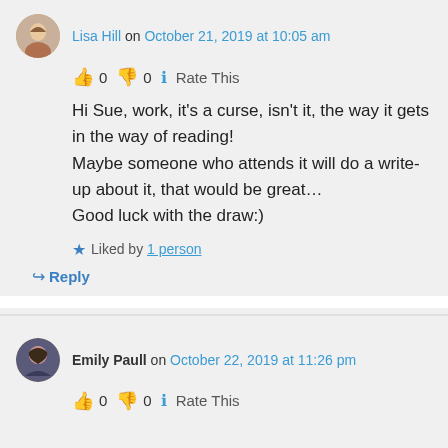Lisa Hill on October 21, 2019 at 10:05 am
👍 0 👎 0 ℹ Rate This
Hi Sue, work, it's a curse, isn't it, the way it gets in the way of reading!
Maybe someone who attends it will do a write-up about it, that would be great…
Good luck with the draw:)
★ Liked by 1 person
↳ Reply
Emily Paull on October 22, 2019 at 11:26 pm
👍 0 👎 0 ℹ Rate This